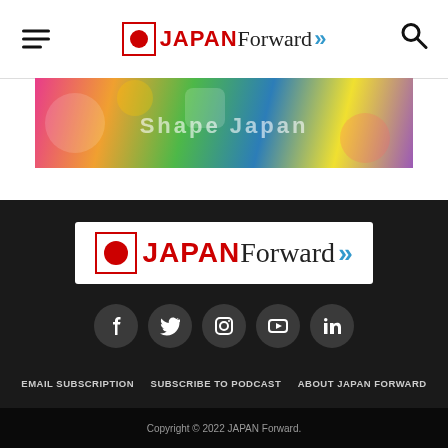JAPAN Forward
[Figure (illustration): Colorful anime-style banner illustration with characters and the text Shape Japan]
[Figure (logo): Japan Forward logo — red circle in a box, JAPAN in red bold, Forward in serif, with blue double arrows]
[Figure (infographic): Social media icons: Facebook, Twitter, Instagram, YouTube, LinkedIn — white icons on dark grey circles]
EMAIL SUBSCRIPTION   SUBSCRIBE TO PODCAST   ABOUT JAPAN FORWARD   MESSAGE FROM EDITOR IN CHIEF   CONTACT US   WRITERS   JOBS   □□□□□□
Copyright © 2022 JAPAN Forward.